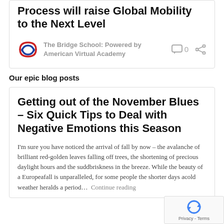Process will raise Global Mobility to the Next Level
The Bridge School: Powered by American Virtual Academy
Our epic blog posts
Getting out of the November Blues – Six Quick Tips to Deal with Negative Emotions this Season
I'm sure you have noticed the arrival of fall by now – the avalanche of brilliant red-golden leaves falling off trees, the shortening of precious daylight hours and the sudden briskness in the breeze. While the beauty of a European fall is unparalleled, for some people the shorter days and cold weather heralds a period… Continue reading
[Figure (logo): reCAPTCHA badge with spinning arrows icon and Privacy - Terms text]